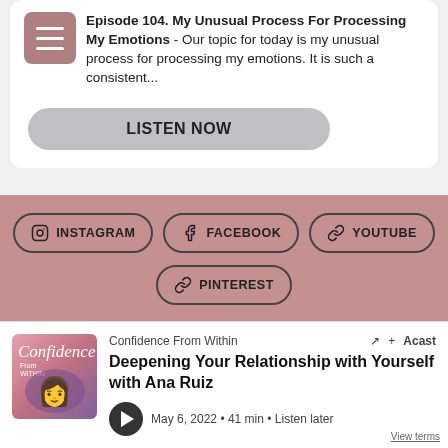Episode 104. My Unusual Process For Processing My Emotions - Our topic for today is my unusual process for processing my emotions. It is such a consistent...
LISTEN NOW
INSTAGRAM
FACEBOOK
YOUTUBE
PINTEREST
Confidence From Within
Deepening Your Relationship with Yourself with Ana Ruiz
May 6, 2022 • 41 min • Listen later
View terms